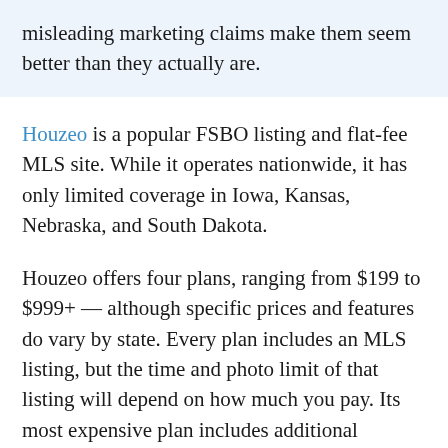misleading marketing claims make them seem better than they actually are.
Houzeo is a popular FSBO listing and flat-fee MLS site. While it operates nationwide, it has only limited coverage in Iowa, Kansas, Nebraska, and South Dakota.
Houzeo offers four plans, ranging from $199 to $999+ — although specific prices and features do vary by state. Every plan includes an MLS listing, but the time and photo limit of that listing will depend on how much you pay. Its most expensive plan includes additional features, like contract review and price assistance, that take some of the DIY out of